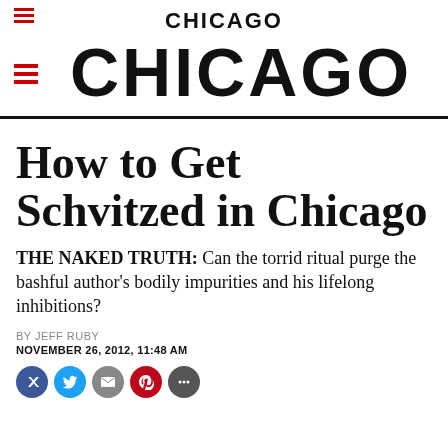CHICAGO
CHICAGO
How to Get Schvitzed in Chicago
THE NAKED TRUTH: Can the torrid ritual purge the bashful author's bodily impurities and his lifelong inhibitions?
BY JEFF RUBY
NOVEMBER 26, 2012, 11:48 AM